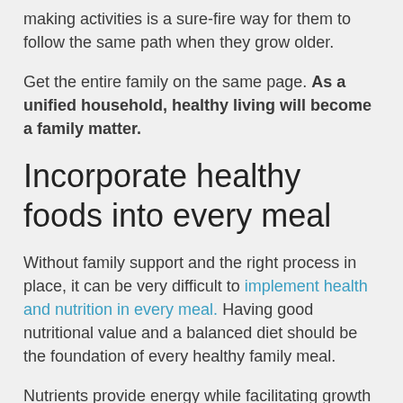making activities is a sure-fire way for them to follow the same path when they grow older.
Get the entire family on the same page. As a unified household, healthy living will become a family matter.
Incorporate healthy foods into every meal
Without family support and the right process in place, it can be very difficult to implement health and nutrition in every meal. Having good nutritional value and a balanced diet should be the foundation of every healthy family meal.
Nutrients provide energy while facilitating growth